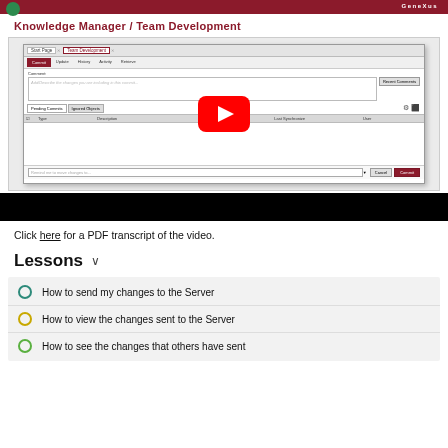GeneXus
Knowledge Manager / Team Development
[Figure (screenshot): YouTube video thumbnail showing a GeneXus Team Development commit dialog with a YouTube play button overlay]
Click here for a PDF transcript of the video.
Lessons
How to send my changes to the Server
How to view the changes sent to the Server
How to see the changes that others have sent